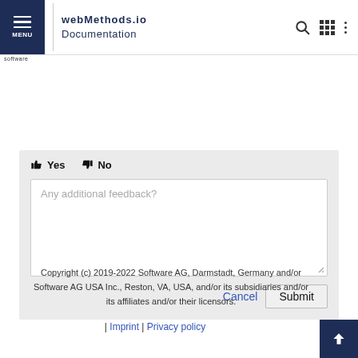webMethods.io Documentation
[Figure (screenshot): Feedback widget with thumbs up Yes and thumbs down No buttons, a textarea with placeholder 'Any additional feedback?', and Cancel and Submit buttons]
Copyright (c) 2019-2022 Software AG, Darmstadt, Germany and/or Software AG USA Inc., Reston, VA, USA, and/or its subsidiaries and/or its affiliates and/or their licensors.
| Imprint | Privacy policy